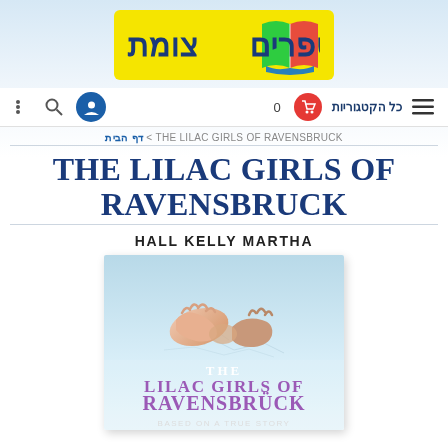[Figure (logo): Tzomet Sfarim bookstore logo — yellow background with Hebrew text and colorful open book icon]
Navigation bar with menu icons and Hebrew text: כל הקטגוריות
דף הבית < THE LILAC GIRLS OF RAVENSBRUCK
THE LILAC GIRLS OF RAVENSBRUCK
HALL KELLY MARTHA
[Figure (photo): Book cover of The Lilac Girls of Ravensbrück by Martha Hall Kelly, showing two hands reaching toward each other with a light blue background, title in purple and white text, subtitle 'Based on a True Story']